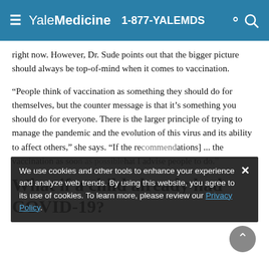Yale Medicine 1-877-YALEMDS
right now. However, Dr. Sude points out that the bigger picture should always be top-of-mind when it comes to vaccination.
“People think of vaccination as something they should do for themselves, but the counter message is that it’s something you should do for everyone. There is the larger principle of trying to manage the pandemic and the evolution of this virus and its ability to affect others,” she says. “If the re[ommendations] ... the vaccination as soo[n as possible]hat I advise people to do.
We use cookies and other tools to enhance your experience and analyze web trends. By using this website, you agree to its use of cookies. To learn more, please review our Privacy Policy.
What if a child already had COVID-19?